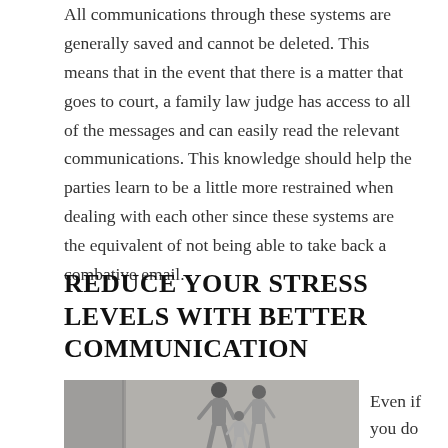All communications through these systems are generally saved and cannot be deleted. This means that in the event that there is a matter that goes to court, a family law judge has access to all of the messages and can easily read the relevant communications. This knowledge should help the parties learn to be a little more restrained when dealing with each other since these systems are the equivalent of not being able to take back a combative email.
REDUCE YOUR STRESS LEVELS WITH BETTER COMMUNICATION
[Figure (photo): A man walking with two children, photographed from the side against a light grey background, partially visible (cropped at bottom)]
Even if you do not like your ex-spouse